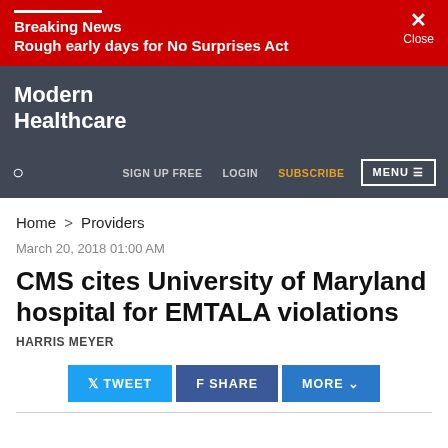Breaking News
Rough early days for No Surprises Act
[Figure (screenshot): Modern Healthcare website navigation bar with logo, search, sign up free, login, subscribe, and menu links]
Home > Providers
March 20, 2018 01:00 AM
CMS cites University of Maryland hospital for EMTALA violations
HARRIS MEYER
[Figure (screenshot): Social sharing buttons: Tweet, Share, More]